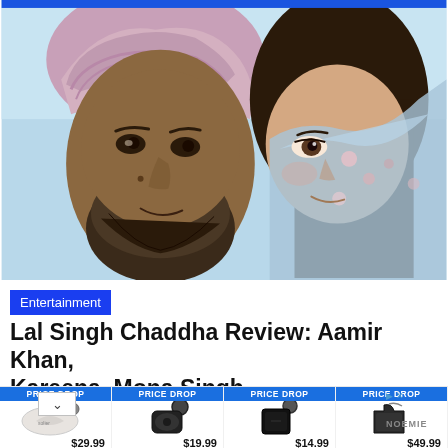[Figure (photo): Movie promotional image showing two actors close together — a man with a pink Sikh turban and beard, and a woman with a floral dupatta/scarf. Sky-blue background.]
Entertainment
Lal Singh Chaddha Review: Aamir Khan, Kareena, Mona Singh...
[Figure (infographic): Advertisement row showing 4 product items each labeled PRICE DROP: a white round pouch at $29.99, a black AirPods case at $19.99, a black square leather case at $14.99, and a black crossbody bag at $49.99. NOEMIE brand label visible. Arrow/sponsored indicator top right.]